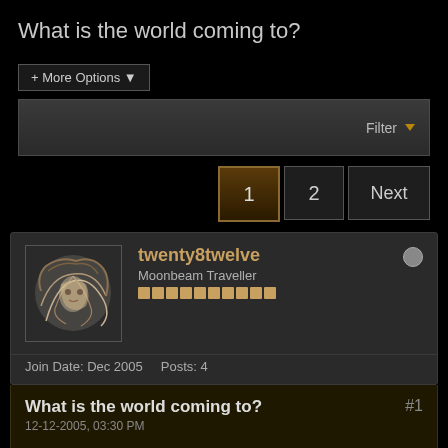What is the world coming to?
+ More Options ▾
Filter ▾
1  2  Next
twenty8twelve
Moonbeam Traveller
Join Date: Dec 2005   Posts: 4
What is the world coming to?  #1
12-12-2005, 03:30 PM
The other day while in my local supermarket, I went down the book/magazine aisle as I normally do just to see if there are any cheap (which Asda are good at providing) and interesting books on the